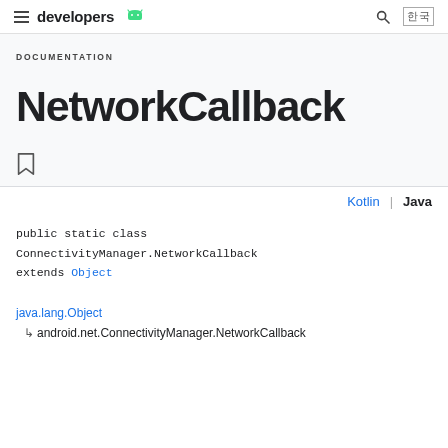developers [Android logo]
DOCUMENTATION
NetworkCallback
Kotlin | Java
public static class ConnectivityManager.NetworkCallback extends Object
java.lang.Object
↳ android.net.ConnectivityManager.NetworkCallback